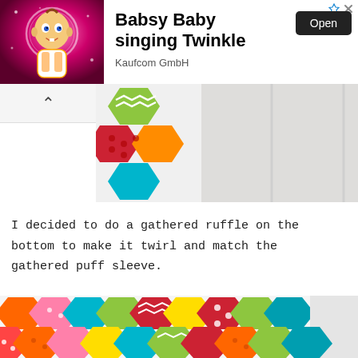[Figure (screenshot): Advertisement banner for 'Babsy Baby singing Twinkle' by Kaufcom GmbH with animated baby character on pink background and Open button]
[Figure (photo): Close-up of colorful hexagon patchwork quilt fabric next to a white fiberfill/batting material on a wooden surface]
I decided to do a gathered ruffle on the bottom to make it twirl and match the gathered puff sleeve.
[Figure (photo): Close-up of colorful hexagon patchwork quilt fabric with various patterns including polka dots, chevrons, and gingham in red, green, blue, orange, pink, yellow colors]